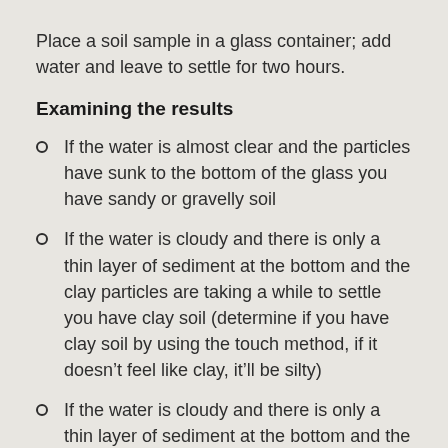Place a soil sample in a glass container; add water and leave to settle for two hours.
Examining the results
If the water is almost clear and the particles have sunk to the bottom of the glass you have sandy or gravelly soil
If the water is cloudy and there is only a thin layer of sediment at the bottom and the clay particles are taking a while to settle you have clay soil (determine if you have clay soil by using the touch method, if it doesn’t feel like clay, it’ll be silty)
If the water is cloudy and there is only a thin layer of sediment at the bottom and the silty particles are taking a while to settle you have